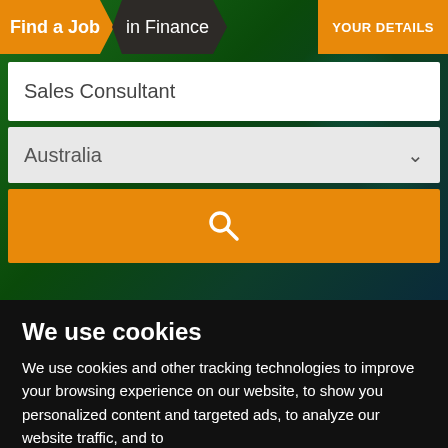[Figure (screenshot): Job search website hero section with dark green digital background, showing a 'Find a Job in Finance' navigation bar with orange arrow branding, a 'YOUR DETAILS' button in orange, a white search input with 'Sales Consultant' text, a grey dropdown showing 'Australia', and an orange search button with magnifier icon.]
We use cookies
We use cookies and other tracking technologies to improve your browsing experience on our website, to show you personalized content and targeted ads, to analyze our website traffic, and to